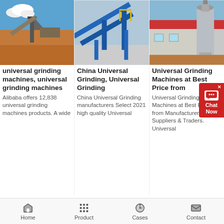[Figure (photo): Outdoor mining/quarry site with conveyor belts and machinery on red earth under blue sky]
[Figure (photo): Blue industrial conveyor belt machinery with yellow railings at a plant facility]
[Figure (photo): Industrial building exterior with large cylindrical grey equipment/silo]
universal grinding machines, universal grinding machines
Alibaba offers 12,838 universal grinding machines products. A wide
China Universal Grinding, Universal Grinding
China Universal Grinding manufacturers Select 2021 high quality Universal
Universal Grinding Machines at Best Price from
Universal Grinding Machines at Best Price from Manufacturers, Suppliers & Traders. Universal
Home  Product  Cases  Contact